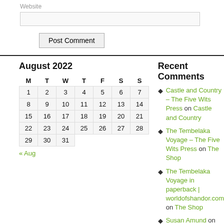Website
[Figure (screenshot): Website input field (form element)]
[Figure (screenshot): Post Comment button]
| M | T | W | T | F | S | S |
| --- | --- | --- | --- | --- | --- | --- |
| 1 | 2 | 3 | 4 | 5 | 6 | 7 |
| 8 | 9 | 10 | 11 | 12 | 13 | 14 |
| 15 | 16 | 17 | 18 | 19 | 20 | 21 |
| 22 | 23 | 24 | 25 | 26 | 27 | 28 |
| 29 | 30 | 31 |  |  |  |  |
« Aug
Recent Comments
Castle and Country – The Five Wits Press on Castle and Country
The Tembelaka Voyage – The Five Wits Press on The Shop
The Tembelaka Voyage in paperback | worldofshandor.com on The Shop
Susan Amund on Chapter One–The Remarkable Professor Sheridan
© 2022 - World of Shandor